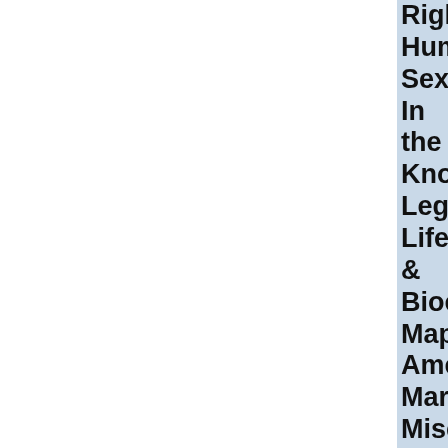Righ
Hum
Sexu
In
the
Know
Legis
Life
&
Bioet
Mapp
Ame
Marr
Misc
Movi
Revie
Othe
Issue
Perk
Persp
Relig
&
Cultu